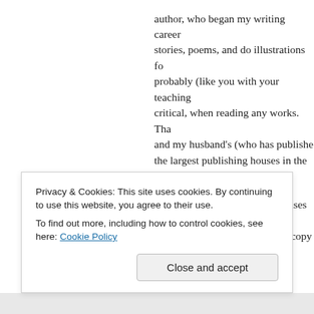author, who began my writing career stories, poems, and do illustrations fo probably (like you with your teaching critical, when reading any works. Tha and my husband's (who has publishe the largest publishing houses in the U
Since I've assisted on initial phases o work and currently editing and copy p I can't seem to read with pure abando an editor's eye makes one instinctivel errors, etc., and that can take away fr entertainment. While I loved D.G.'s f the fifth almost seem like another aut
Privacy & Cookies: This site uses cookies. By continuing to use this website, you agree to their use.
To find out more, including how to control cookies, see here: Cookie Policy